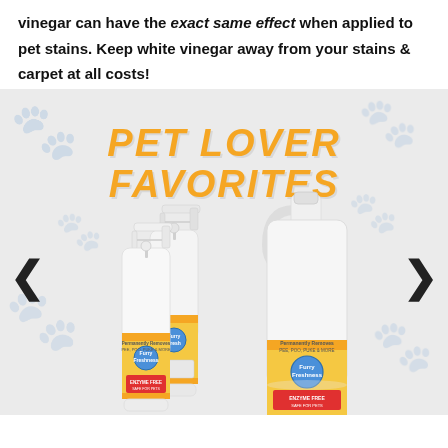vinegar can have the exact same effect when applied to pet stains. Keep white vinegar away from your stains & carpet at all costs!
[Figure (photo): Pet Lover Favorites product showcase section with orange bold italic title 'PET LOVER FAVORITES' and two Furry Freshness spray bottles on the left and one large Furry Freshness gallon jug on the right, with navigation arrows on both sides, on a light gray background with subtle watermark patterns]